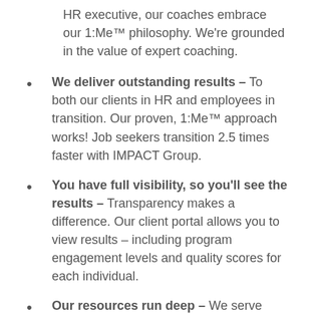HR executive, our coaches embrace our 1:Me™ philosophy. We're grounded in the value of expert coaching.
We deliver outstanding results – To both our clients in HR and employees in transition. Our proven, 1:Me™ approach works! Job seekers transition 2.5 times faster with IMPACT Group.
You have full visibility, so you'll see the results – Transparency makes a difference. Our client portal allows you to view results – including program engagement levels and quality scores for each individual.
Our resources run deep – We serve clients in Scotland and around the globe,